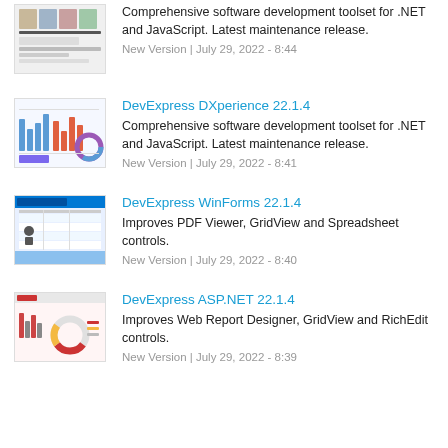[Figure (screenshot): Thumbnail showing people/team screenshot]
Comprehensive software development toolset for .NET and JavaScript. Latest maintenance release.
New Version | July 29, 2022 - 8:44
[Figure (screenshot): Thumbnail showing charts and data visualizations]
DevExpress DXperience 22.1.4
Comprehensive software development toolset for .NET and JavaScript. Latest maintenance release.
New Version | July 29, 2022 - 8:41
[Figure (screenshot): Thumbnail showing WinForms application screenshot]
DevExpress WinForms 22.1.4
Improves PDF Viewer, GridView and Spreadsheet controls.
New Version | July 29, 2022 - 8:40
[Figure (screenshot): Thumbnail showing ASP.NET application screenshot with charts]
DevExpress ASP.NET 22.1.4
Improves Web Report Designer, GridView and RichEdit controls.
New Version | July 29, 2022 - 8:39